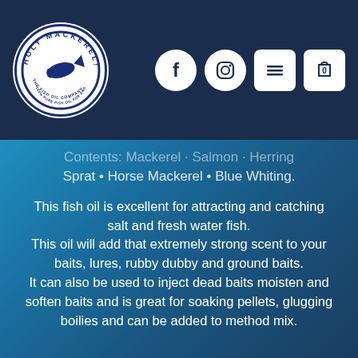[Figure (logo): Holy Mackerel! The Fish Oil Company logo — circular badge with fish illustration, white on dark navy background]
Sprat • Horse Mackerel • Blue Whiting.
This fish oil is excellent for attracting and catching salt and fresh water fish. This oil will add that extremely strong scent to your baits, lures, rubby dubby and ground baits. It can also be used to inject dead baits moisten and soften baits and is great for soaking pellets, glugging boilies and can be added to method mix.